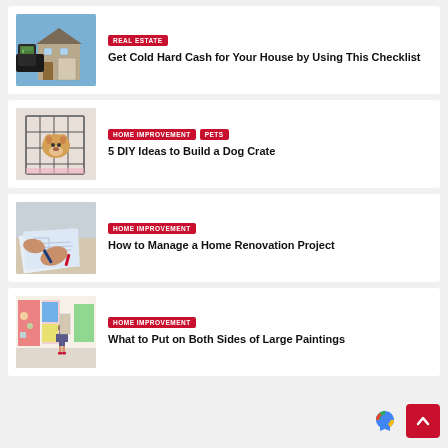[Figure (photo): House exterior with cash/wallet in foreground]
REAL ESTATE
Get Cold Hard Cash for Your House by Using This Checklist
[Figure (photo): Corgi dog inside a metal dog crate]
HOME IMPROVEMENT PETS
5 DIY Ideas to Build a Dog Crate
[Figure (photo): Person drawing renovation plans at a desk]
HOME IMPROVEMENT
How to Manage a Home Renovation Project
[Figure (photo): Woman standing in art gallery with large paintings]
HOME IMPROVEMENT
What to Put on Both Sides of Large Paintings